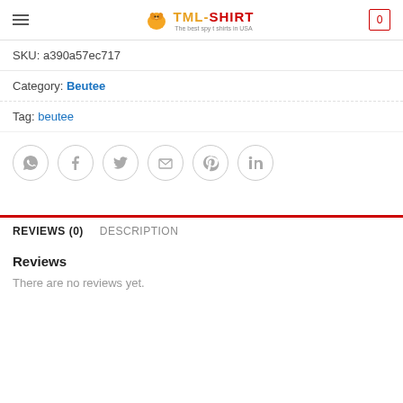TML-SHIRT The best spy t shirts in USA
SKU: a390a57ec717
Category: Beutee
Tag: beutee
[Figure (infographic): Social share icons: WhatsApp, Facebook, Twitter, Email, Pinterest, LinkedIn — each a circle with a grey border and grey icon]
REVIEWS (0)
DESCRIPTION
Reviews
There are no reviews yet.